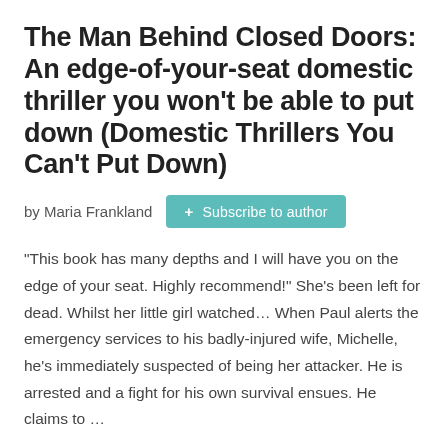The Man Behind Closed Doors: An edge-of-your-seat domestic thriller you won't be able to put down (Domestic Thrillers You Can't Put Down)
by Maria Frankland
+ Subscribe to author
"This book has many depths and I will have you on the edge of your seat. Highly recommend!" She's been left for dead. Whilst her little girl watched... When Paul alerts the emergency services to his badly-injured wife, Michelle, he's immediately suspected of being her attacker. He is arrested and a fight for his own survival ensues. He claims to ...
FREE £1.99